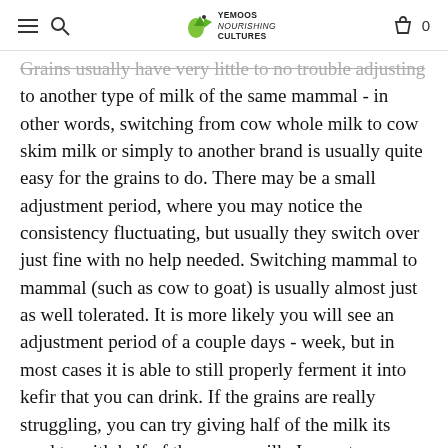YEMOOS Nourishing CULTURES
Grains usually have very little to no trouble adjusting to another type of milk of the same mammal - in other words, switching from cow whole milk to cow skim milk or simply to another brand is usually quite easy for the grains to do. There may be a small adjustment period, where you may notice the consistency fluctuating, but usually they switch over just fine with no help needed. Switching mammal to mammal (such as cow to goat) is usually almost just as well tolerated. It is more likely you will see an adjustment period of a couple days - week, but in most cases it is able to still properly ferment it into kefir that you can drink. If the grains are really struggling, you can try giving half of the milk its used to with half of the newer milk. In most cases you will see them happily adapt. As a side note goats milk kefir is known to be